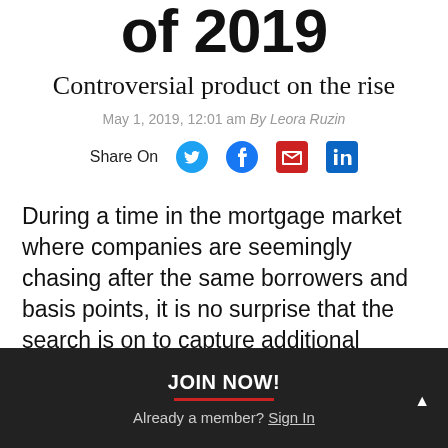of 2019
Controversial product on the rise
May 1, 2019, 12:01 am By Leora Ruzin
Share On
During a time in the mortgage market where companies are seemingly chasing after the same borrowers and basis points, it is no surprise that the search is on to capture additional
JOIN NOW!
Already a member? Sign In